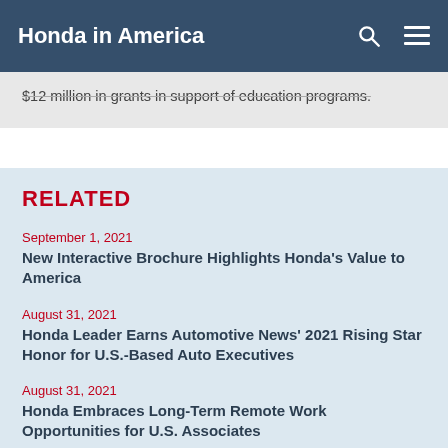Honda in America
$12 million in grants in support of education programs.
RELATED
September 1, 2021
New Interactive Brochure Highlights Honda's Value to America
August 31, 2021
Honda Leader Earns Automotive News' 2021 Rising Star Honor for U.S.-Based Auto Executives
August 31, 2021
Honda Embraces Long-Term Remote Work Opportunities for U.S. Associates